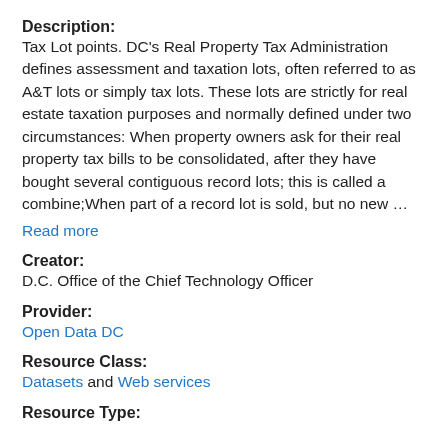Description:
Tax Lot points. DC's Real Property Tax Administration defines assessment and taxation lots, often referred to as A&T lots or simply tax lots. These lots are strictly for real estate taxation purposes and normally defined under two circumstances: When property owners ask for their real property tax bills to be consolidated, after they have bought several contiguous record lots; this is called a combine;When part of a record lot is sold, but no new …
Read more
Creator:
D.C. Office of the Chief Technology Officer
Provider:
Open Data DC
Resource Class:
Datasets and Web services
Resource Type: